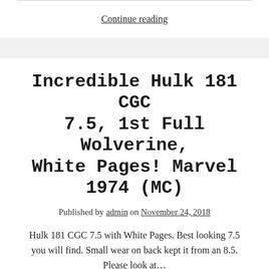Continue reading
Incredible Hulk 181 CGC 7.5, 1st Full Wolverine, White Pages! Marvel 1974 (MC)
Published by admin on November 24, 2018
Hulk 181 CGC 7.5 with White Pages. Best looking 7.5 you will find. Small wear on back kept it from an 8.5. Please look at…